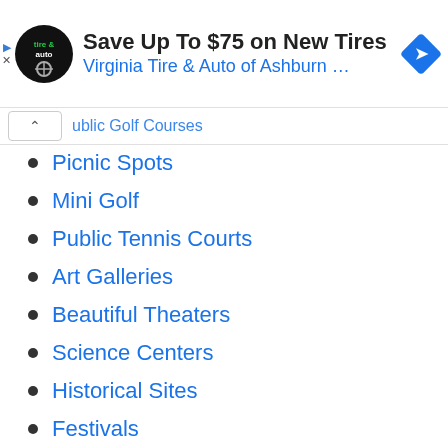[Figure (screenshot): Advertisement banner: Virginia Tire & Auto logo (circular black badge), text 'Save Up To $75 on New Tires' and 'Virginia Tire & Auto of Ashburn …', blue diamond arrow icon on right, triangular play icon and X on far left.]
ublic Golf Courses (partially visible, collapsed)
Picnic Spots
Mini Golf
Public Tennis Courts
Art Galleries
Beautiful Theaters
Science Centers
Historical Sites
Festivals
Food Truck Festivals
Farmers' Markets